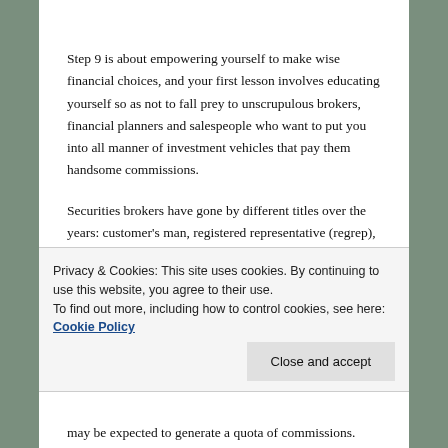Step 9 is about empowering yourself to make wise financial choices, and your first lesson involves educating yourself so as not to fall prey to unscrupulous brokers, financial planners and salespeople who want to put you into all manner of investment vehicles that pay them handsome commissions.
Securities brokers have gone by different titles over the years: customer's man, registered representative (regrep), account executive, financial consultant. They all mean the same thing: salesperson. In the majority of cases, their earnings come from commissions. To make
Privacy & Cookies: This site uses cookies. By continuing to use this website, you agree to their use.
To find out more, including how to control cookies, see here: Cookie Policy
may be expected to generate a quota of commissions.